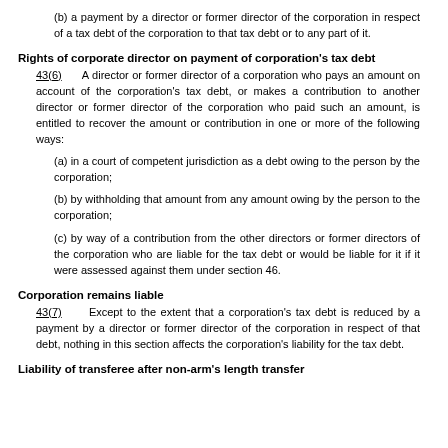(b) a payment by a director or former director of the corporation in respect of a tax debt of the corporation to that tax debt or to any part of it.
Rights of corporate director on payment of corporation's tax debt
43(6)      A director or former director of a corporation who pays an amount on account of the corporation's tax debt, or makes a contribution to another director or former director of the corporation who paid such an amount, is entitled to recover the amount or contribution in one or more of the following ways:
(a) in a court of competent jurisdiction as a debt owing to the person by the corporation;
(b) by withholding that amount from any amount owing by the person to the corporation;
(c) by way of a contribution from the other directors or former directors of the corporation who are liable for the tax debt or would be liable for it if it were assessed against them under section 46.
Corporation remains liable
43(7)      Except to the extent that a corporation's tax debt is reduced by a payment by a director or former director of the corporation in respect of that debt, nothing in this section affects the corporation's liability for the tax debt.
Liability of transferee after non-arm's length transfer